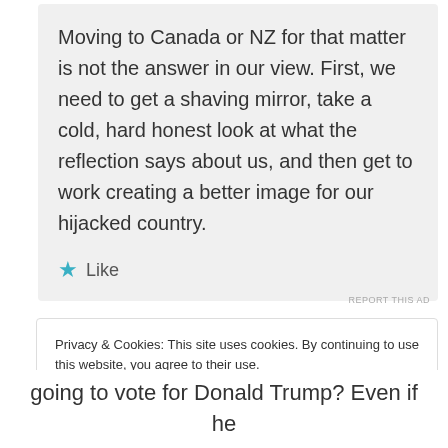Moving to Canada or NZ for that matter is not the answer in our view. First, we need to get a shaving mirror, take a cold, hard honest look at what the reflection says about us, and then get to work creating a better image for our hijacked country.
★ Like
REPORT THIS AD
Privacy & Cookies: This site uses cookies. By continuing to use this website, you agree to their use. To find out more, including how to control cookies, see here: Cookie Policy
Close and accept
going to vote for Donald Trump? Even if he